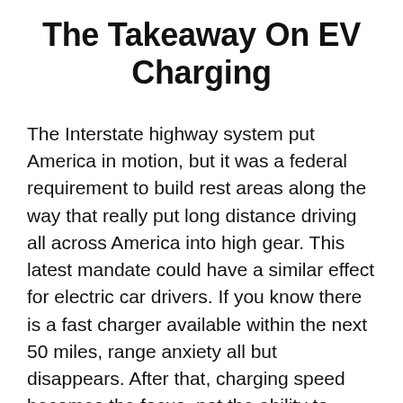The Takeaway On EV Charging
The Interstate highway system put America in motion, but it was a federal requirement to build rest areas along the way that really put long distance driving all across America into high gear. This latest mandate could have a similar effect for electric car drivers. If you know there is a fast charger available within the next 50 miles, range anxiety all but disappears. After that, charging speed becomes the focus, not the ability to charge.
But the myths about electric cars continue to circulate. The comments to the New York Times article are filled with inaccurate